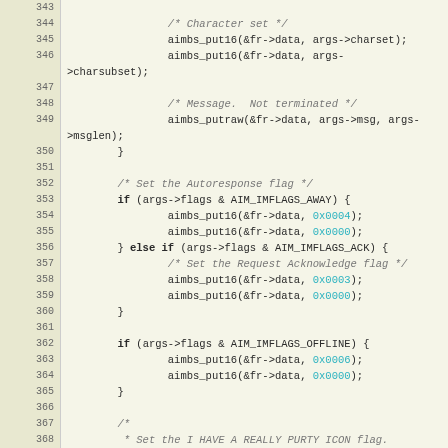[Figure (screenshot): Source code listing (C language) showing lines 343–373, implementing SNAC/AIM instant message flags including character set, message, autoresponse, acknowledge, offline, and icon flags using aimbs_put16 and aimbs_putraw functions.]